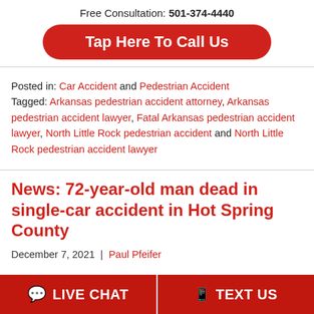Free Consultation: 501-374-4440
Tap Here To Call Us
Posted in: Car Accident and Pedestrian Accident
Tagged: Arkansas pedestrian accident attorney, Arkansas pedestrian accident lawyer, Fatal Arkansas pedestrian accident lawyer, North Little Rock pedestrian accident and North Little Rock pedestrian accident lawyer
News: 72-year-old man dead in single-car accident in Hot Spring County
December 7, 2021 | Paul Pfeifer
LIVE CHAT   TEXT US